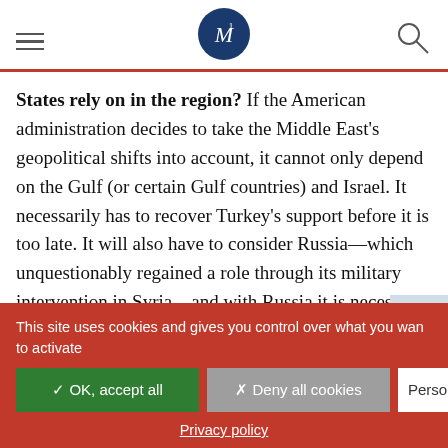M (logo)
States rely on in the region? If the American administration decides to take the Middle East's geopolitical shifts into account, it cannot only depend on the Gulf (or certain Gulf countries) and Israel. It necessarily has to recover Turkey's support before it is too late. It will also have to consider Russia—which unquestionably regained a role through its military intervention in Syria—and with Russia it is necessarily take account of the Moscow-Tehran axis, an alliance
This site uses cookies and gives you control over what you want to activate
✓ OK, accept all
✗ Deny all cookies
Personalize
Privacy policy